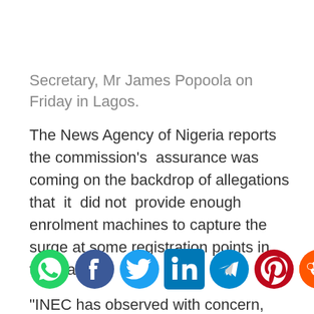Secretary, Mr James Popoola on Friday in Lagos.
The News Agency of Nigeria reports the commission's assurance was coming on the backdrop of allegations that it did not provide enough enrolment machines to capture the surge at some registration points in the state.
“INEC has observed with concern, recent happenings in the ongoing CVR exercise in the
[Figure (infographic): Social media sharing icons row: WhatsApp (green), Facebook (blue), Twitter (light blue), LinkedIn (dark blue), Telegram (blue), Pinterest (red), Reddit (orange-red), Email (red envelope)]